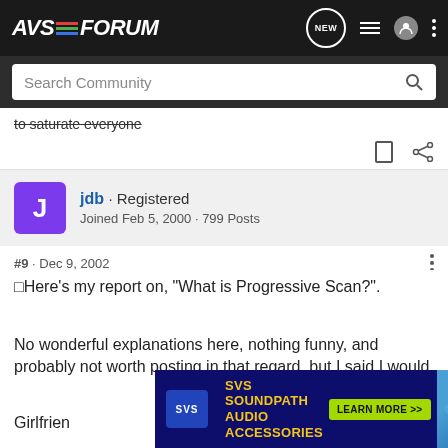AVS Forum - Search Community
to saturate everyone
jdb · Registered
Joined Feb 5, 2000 · 799 Posts
#9 · Dec 9, 2002
Here's my report on, "What is Progressive Scan?".
No wonderful explanations here, nothing funny, and probably not worth posting in that regard, but I said I would
Girlfriend
[Figure (screenshot): SVS SoundPath Audio Accessories advertisement banner with yellow text on dark blue background and Learn More button]